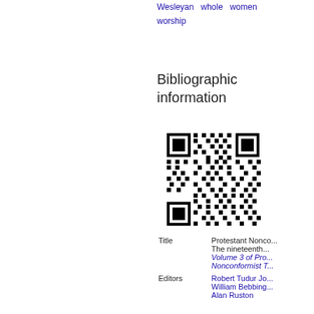Wesleyan  whole  women
worship
Bibliographic information
[Figure (other): QR code for bibliographic information]
| Title | Protestant Nonco... The nineteenth... Volume 3 of Protestant Nonconformist T... |
| Editors | Robert Tudur Jo...
William Bebbing...
Alan Ruston |